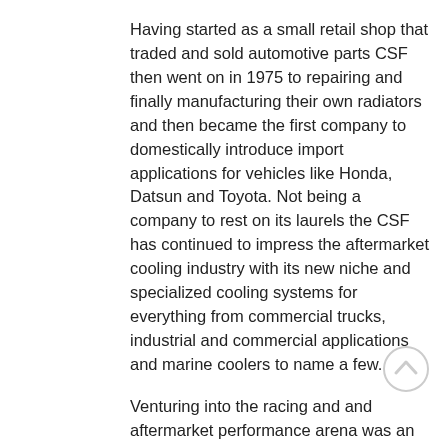Having started as a small retail shop that traded and sold automotive parts CSF then went on in 1975 to repairing and finally manufacturing their own radiators and then became the first company to domestically introduce import applications for vehicles like Honda, Datsun and Toyota. Not being a company to rest on its laurels the CSF has continued to impress the aftermarket cooling industry with its new niche and specialized cooling systems for everything from commercial trucks, industrial and commercial applications and marine coolers to name a few.
Venturing into the racing and and aftermarket performance arena was an easy transition for CSF having garnered the knowledge and experience needed to make a mark in this venue. Hence the formulation of the High Performance Division of CSF whose job it is to design